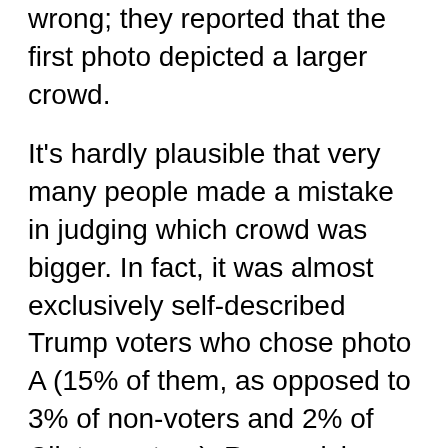wrong; they reported that the first photo depicted a larger crowd.
It's hardly plausible that very many people made a mistake in judging which crowd was bigger. In fact, it was almost exclusively self-described Trump voters who chose photo A (15% of them, as opposed to 3% of non-voters and 2% of Clinton voters). Recognizing the photo and recalling the controversy, Schaffner and Luks suggest, Trump supporters took the opportunity not to report their beliefs, but to express their support for the president. They also suggest that the 15% number almost certainly